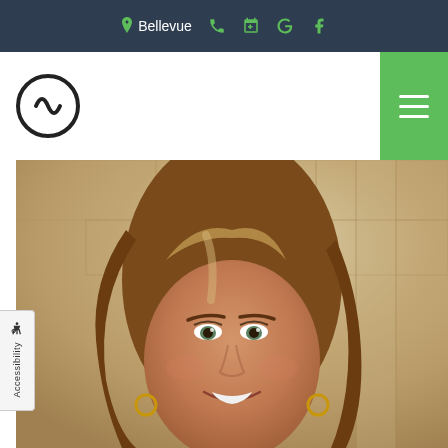Bellevue — navigation bar with location, phone, appointment, Google, Facebook icons and logo with hamburger menu
[Figure (photo): Headshot of a smiling woman with long brown highlighted hair, wearing gold hoop earrings, photographed against a decorative stone wall background.]
Accessibility